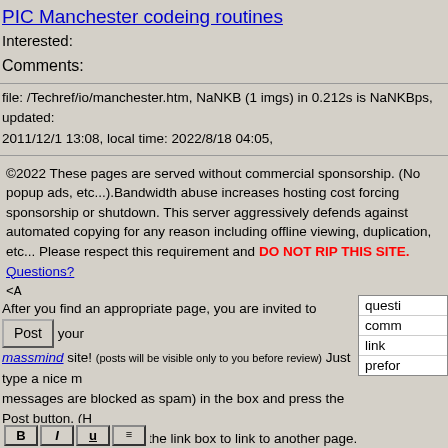PIC Manchester codeing routines
Interested:
Comments:
file: /Techref/io/manchester.htm, NaNKB (1 imgs) in 0.212s is NaNKBps, updated: 2011/12/1 13:08, local time: 2022/8/18 04:05,
©2022 These pages are served without commercial sponsorship. (No popup ads, etc...).Bandwidth abuse increases hosting cost forcing sponsorship or shutdown. This server aggressively defends against automated copying for any reason including offline viewing, duplication, etc... Please respect this requirement and DO NOT RIP THIS SITE. Questions?
<A HREF="http://www.sxlist.com/Techref/io/manchester.htm">
Manchester encoding</A>
After you find an appropriate page, you are invited to [Post] your massmind site! (posts will be visible only to you before review) Just type a nice m messages are blocked as spam) in the box and press the Post button. (H the <A tag: Instead, use the link box to link to another page. A tutorial is a login to post directly, become page editors, and be credited for their post
[Figure (screenshot): Dropdown menu with options: questi, comm, link, preform]